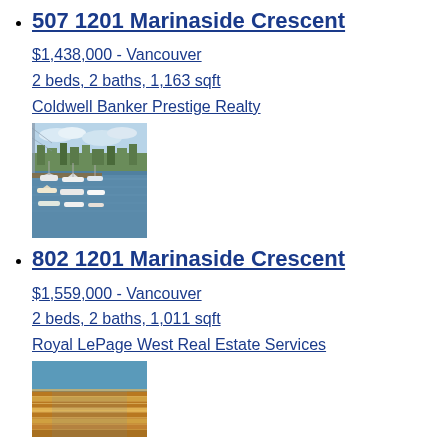507 1201 Marinaside Crescent
$1,438,000 - Vancouver
2 beds, 2 baths, 1,163 sqft
Coldwell Banker Prestige Realty
[Figure (photo): Aerial view of a marina with boats docked, surrounded by trees and city buildings]
802 1201 Marinaside Crescent
$1,559,000 - Vancouver
2 beds, 2 baths, 1,011 sqft
Royal LePage West Real Estate Services
[Figure (photo): Close-up of a modern curved building facade with horizontal bands of glass and metal]